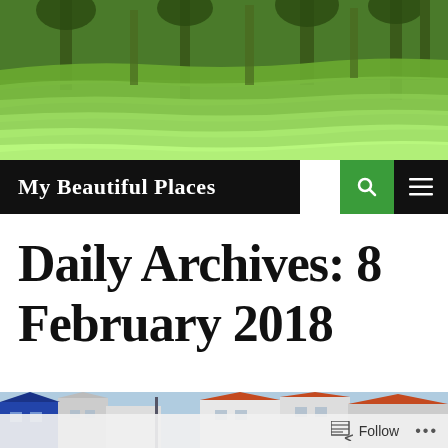[Figure (photo): Aerial view of lush green terraced rice paddies with tall palm trees in a tropical setting, likely Bali, Indonesia]
My Beautiful Places
Daily Archives: 8 February 2018
[Figure (photo): Street-level view of colorful wooden houses with steep rooflines in a European town, likely Stavanger, Norway]
Follow ...